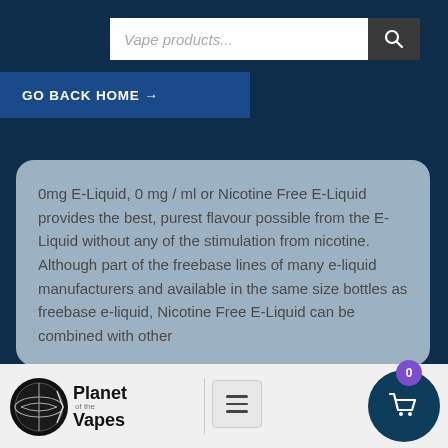[Figure (screenshot): Search bar with placeholder text 'Vape products...' and dark search button with magnifying glass icon]
GO BACK HOME →
0mg E-Liquid, 0 mg / ml or Nicotine Free E-Liquid provides the best, purest flavour possible from the E-Liquid without any of the stimulation from nicotine. Although part of the freebase lines of many e-liquid manufacturers and available in the same size bottles as freebase e-liquid, Nicotine Free E-Liquid can be combined with other
[Figure (logo): Planet of the Vapes logo — globe icon with text 'Planet of the Vapes']
[Figure (other): Hamburger menu icon (three horizontal lines)]
[Figure (other): Shopping cart button (dark teal circle) with purple badge showing '0']